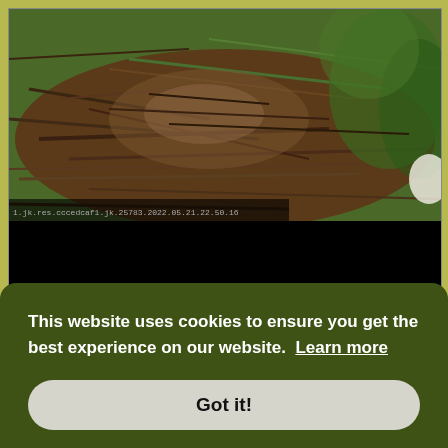[Figure (photo): Wildlife camera footage of an osprey nest made of sticks and branches, with green foliage visible in the background. A black bar at the bottom contains a timestamp overlay. A scroll-up arrow button appears at the bottom right.]
ame
Moderator
May 21st, 2022, 8:17 am
8:12:50 a rustle on the top and the top branches were
This website uses cookies to ensure you get the best experience on our website.  Learn more
Got it!